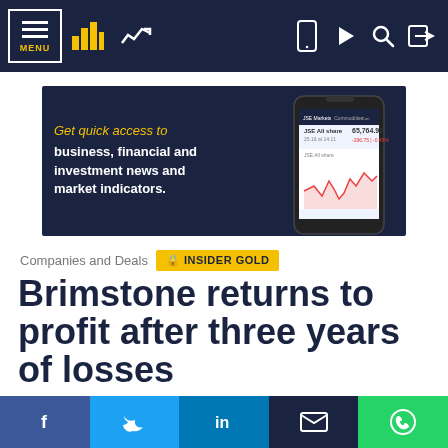MENU | [navigation bar with icons]
[Figure (screenshot): Advertisement banner for a financial news app: 'Get quick access to business, financial and investment news and market indicators.' with a phone showing JSE All share data and a chart.]
Companies and Deals
INSIDER GOLD
Brimstone returns to profit after three years of losses
Last reported profit gains in its 2017 full-year results
f | y | in | [email] | [whatsapp]